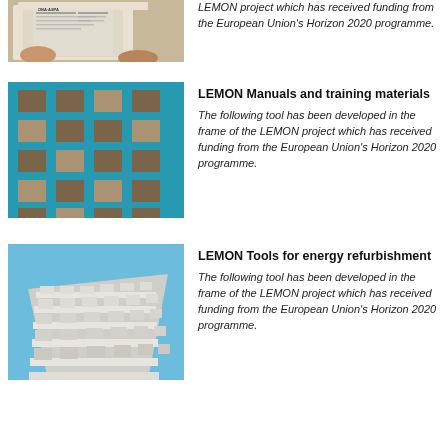[Figure (photo): Person reading newspapers, hands visible, close-up view of printed press]
LEMON project which has received funding from the European Union's Horizon 2020 programme.
[Figure (photo): Facade of building with teal/turquoise cladding and square brown window openings in a grid pattern]
LEMON Manuals and training materials
The following tool has been developed in the frame of the LEMON project which has received funding from the European Union's Horizon 2020 programme.
[Figure (photo): Low-angle view of a modernist apartment building with white balconies and blue sky]
LEMON Tools for energy refurbishment
The following tool has been developed in the frame of the LEMON project which has received funding from the European Union's Horizon 2020 programme.